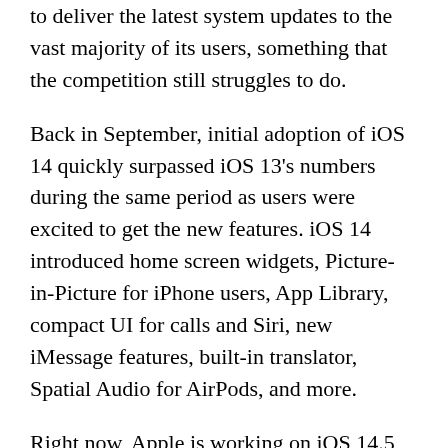to deliver the latest system updates to the vast majority of its users, something that the competition still struggles to do.
Back in September, initial adoption of iOS 14 quickly surpassed iOS 13's numbers during the same period as users were excited to get the new features. iOS 14 introduced home screen widgets, Picture-in-Picture for iPhone users, App Library, compact UI for calls and Siri, new iMessage features, built-in translator, Spatial Audio for AirPods, and more.
Right now, Apple is working on iOS 14.5 — which is currently available to developers and public beta users. Although the release date is still uncertain, Apple says that the update will be